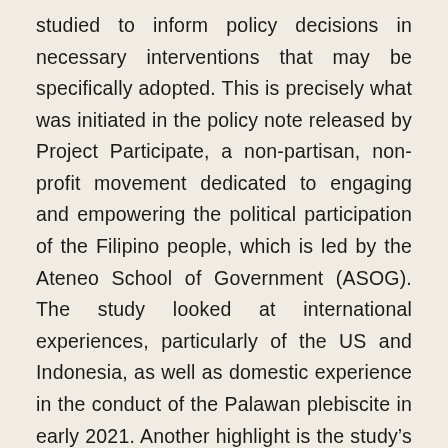studied to inform policy decisions in necessary interventions that may be specifically adopted. This is precisely what was initiated in the policy note released by Project Participate, a non-partisan, non-profit movement dedicated to engaging and empowering the political participation of the Filipino people, which is led by the Ateneo School of Government (ASOG). The study looked at international experiences, particularly of the US and Indonesia, as well as domestic experience in the conduct of the Palawan plebiscite in early 2021. Another highlight is the study's estimate that an additional budget of roughly P10 billion is needed to augment the usual budget of the Commission on Elections (Comelec) in order to "COVID-proof" the May 2022 election.